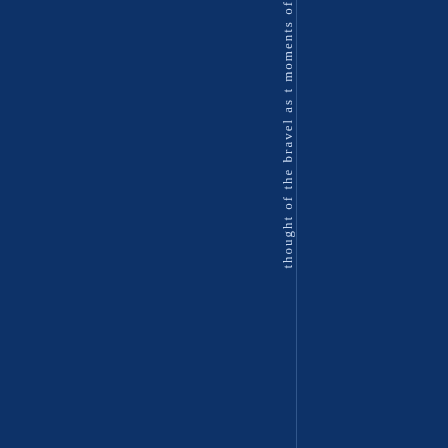thought of the bravel as t moments of